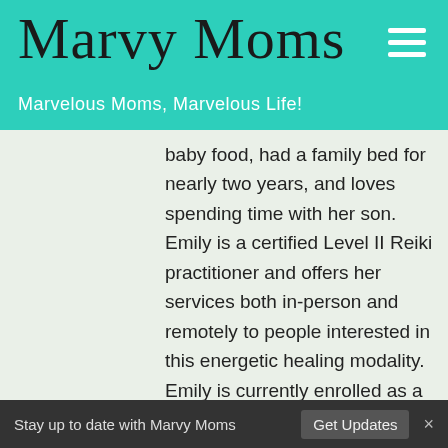Marvy Moms
Marvelous Moms, Marvelous Life!
baby food, had a family bed for nearly two years, and loves spending time with her son. Emily is a certified Level II Reiki practitioner and offers her services both in-person and remotely to people interested in this energetic healing modality. Emily is currently enrolled as a student at the American Academy of Homeopathy to become a Certified Classical Homeopath and
Stay up to date with Marvy Moms  Get Updates  ×